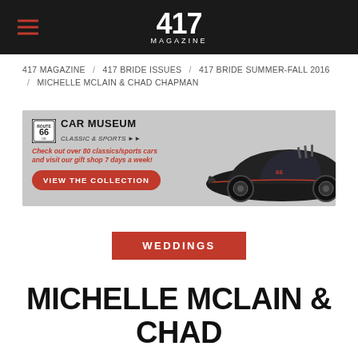417 MAGAZINE
417 MAGAZINE / 417 BRIDE ISSUES / 417 BRIDE SUMMER-FALL 2016 / MICHELLE MCLAIN & CHAD CHAPMAN
[Figure (illustration): Route 66 Car Museum Classic & Sports advertisement banner with a Batmobile-style black car. Text: Check out over 80 classics/sports cars and visit our gift shop 7 days a week! VIEW THE COLLECTION]
WEDDINGS
MICHELLE MCLAIN & CHAD